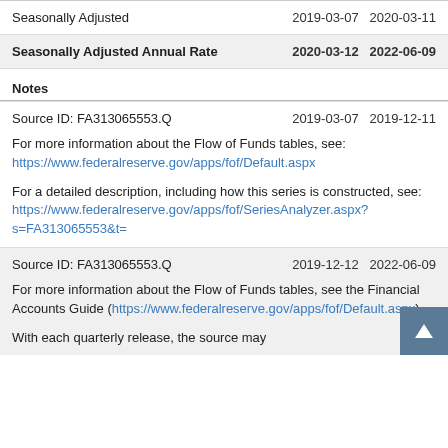|  |  |  |
| --- | --- | --- |
| Seasonally Adjusted | 2019-03-07 | 2020-03-11 |
| Seasonally Adjusted Annual Rate | 2020-03-12 | 2022-06-09 |
Notes
Source ID: FA313065553.Q    2019-03-07   2019-12-11

For more information about the Flow of Funds tables, see: https://www.federalreserve.gov/apps/fof/Default.aspx

For a detailed description, including how this series is constructed, see: https://www.federalreserve.gov/apps/fof/SeriesAnalyzer.aspx?s=FA313065553&t=
Source ID: FA313065553.Q    2019-12-12   2022-06-09

For more information about the Flow of Funds tables, see the Financial Accounts Guide (https://www.federalreserve.gov/apps/fof/Default.aspx).

With each quarterly release, the source may